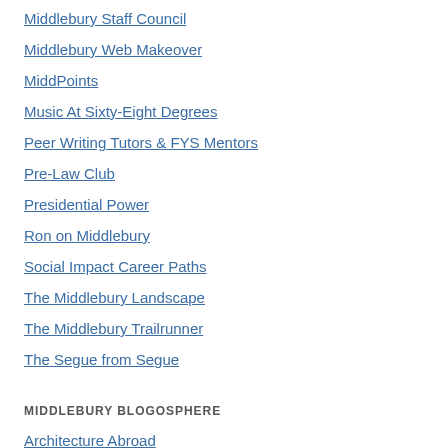Middlebury Staff Council
Middlebury Web Makeover
MiddPoints
Music At Sixty-Eight Degrees
Peer Writing Tutors & FYS Mentors
Pre-Law Club
Presidential Power
Ron on Middlebury
Social Impact Career Paths
The Middlebury Landscape
The Middlebury Trailrunner
The Segue from Segue
MIDDLEBURY BLOGOSPHERE
Architecture Abroad
Circulation Services
Digital Media Tutors